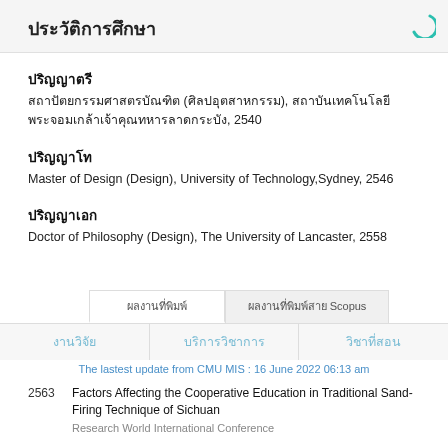ประวัติการศึกษา
ปริญญาตรี
สถาปัตยกรรมศาสตรบัณฑิต (ศิลปอุตสาหกรรม), สถาบันเทคโนโลยีพระจอมเกล้าเจ้าคุณทหารลาดกระบัง, 2540
ปริญญาโท
Master of Design (Design), University of Technology,Sydney, 2546
ปริญญาเอก
Doctor of Philosophy (Design), The University of Lancaster, 2558
ผลงานที่พิมพ์	ผลงานที่พิมพ์สาย Scopus
งานวิจัย	บริการวิชาการ	วิชาที่สอน
The lastest update from CMU MIS : 16 June 2022 06:13 am
2563  Factors Affecting the Cooperative Education in Traditional Sand-Firing Technique of Sichuan
Research World International Conference